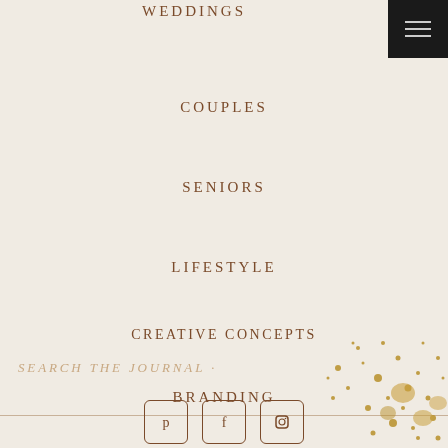[Figure (other): Dark hamburger menu button in top right corner with three horizontal lines]
WEDDINGS
COUPLES
SENIORS
LIFESTYLE
CREATIVE CONCEPTS
BRANDING
SEARCH THE JOURNAL .
[Figure (illustration): Gold glitter/paint splash decorative element in bottom right corner]
[Figure (other): Pinterest, Facebook, and Instagram social media icon buttons in rounded square frames]